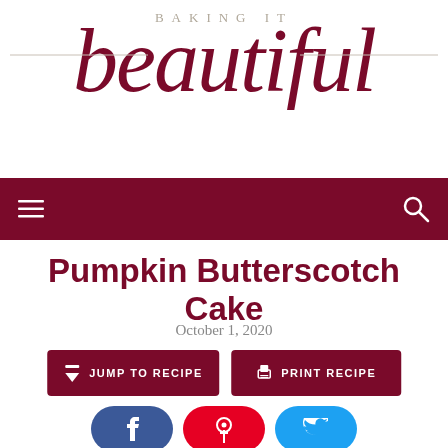BAKING IT beautiful
Pumpkin Butterscotch Cake
October 1, 2020
JUMP TO RECIPE
PRINT RECIPE
[Figure (other): Social share buttons: Facebook, Pinterest, Twitter]